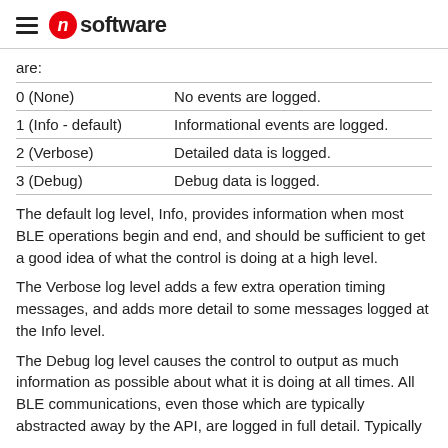software
are:
| 0 (None) | No events are logged. |
| 1 (Info - default) | Informational events are logged. |
| 2 (Verbose) | Detailed data is logged. |
| 3 (Debug) | Debug data is logged. |
The default log level, Info, provides information when most BLE operations begin and end, and should be sufficient to get a good idea of what the control is doing at a high level.
The Verbose log level adds a few extra operation timing messages, and adds more detail to some messages logged at the Info level.
The Debug log level causes the control to output as much information as possible about what it is doing at all times. All BLE communications, even those which are typically abstracted away by the API, are logged in full detail. Typically